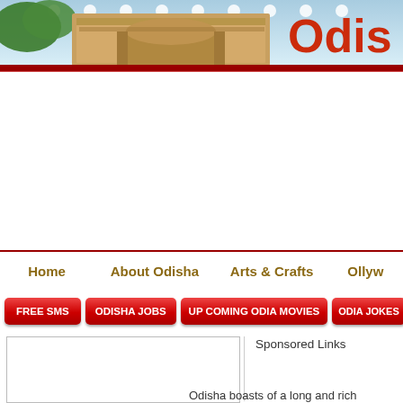[Figure (screenshot): Website header banner with temple/arch image, white polka dots, blue sky background, and partial 'Odis' logo text in red/purple/blue gradient on the right]
Home | About Odisha | Arts & Crafts | Ollyw...
FREE SMS
ODISHA JOBS
UP COMING ODIA MOVIES
ODIA JOKES
Sponsored Links
Odisha boasts of a long and rich...